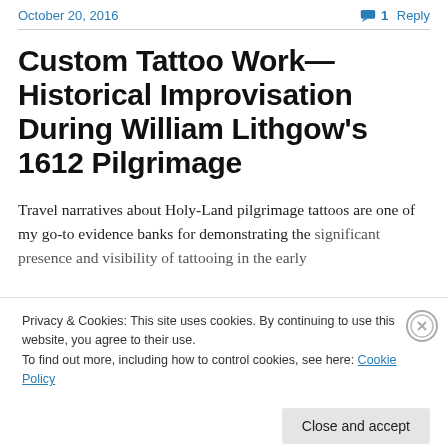October 20, 2016    1 Reply
Custom Tattoo Work—Historical Improvisation During William Lithgow's 1612 Pilgrimage
Travel narratives about Holy-Land pilgrimage tattoos are one of my go-to evidence banks for demonstrating the significant presence and visibility of tattooing in the early
Privacy & Cookies: This site uses cookies. By continuing to use this website, you agree to their use.
To find out more, including how to control cookies, see here: Cookie Policy
Close and accept